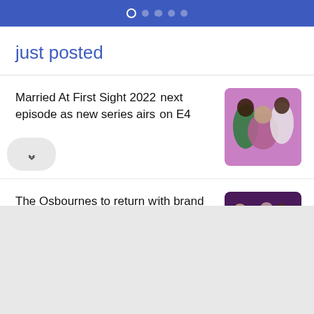navigation dots
just posted
Married At First Sight 2022 next episode as new series airs on E4
[Figure (photo): Three people posing, pink/purple background - Married At First Sight cast photo]
The Osbournes to return with brand new series on BBC One
[Figure (photo): The Osbournes group photo on purple background with 'sbournes' text visible]